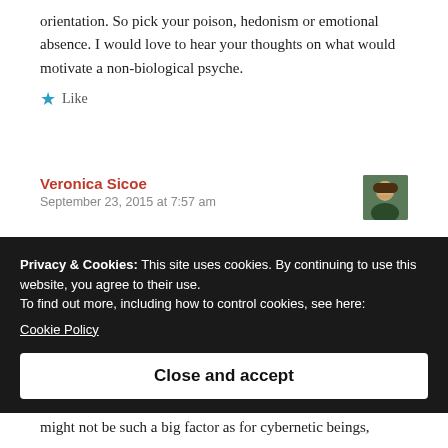orientation. So pick your poison, hedonism or emotional absence. I would love to hear your thoughts on what would motivate a non-biological psyche.
★ Like
Veronica Sicoe
September 23, 2015 at 7:57 am
[Figure (photo): Avatar photo of Veronica Sicoe, a woman with blonde hair]
Privacy & Cookies: This site uses cookies. By continuing to use this website, you agree to their use.
To find out more, including how to control cookies, see here:
Cookie Policy
Close and accept
might not be such a big factor as for cybernetic beings,